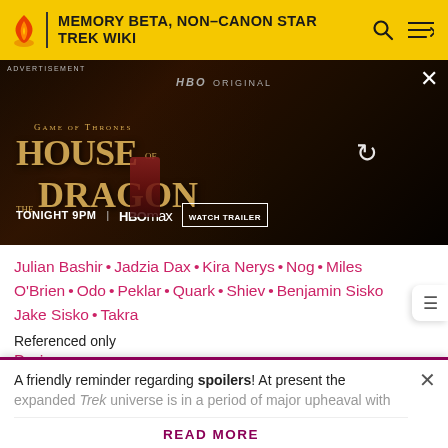MEMORY BETA, NON-CANON STAR TREK WIKI
[Figure (screenshot): Advertisement banner for 'House of the Dragon' (Game of Thrones prequel) on HBO Max. Shows 'TONIGHT 9PM | HBO max | WATCH TRAILER'. Dark fantasy background with a woman in red dress.]
Julian Bashir • Jadzia Dax • Kira Nerys • Nog • Miles O'Brien • Odo • Peklar • Quark • Shiev • Benjamin Sisko Jake Sisko • Takra
Referenced only
Dorien
A friendly reminder regarding spoilers! At present the expanded Trek universe is in a period of major upheaval with
READ MORE